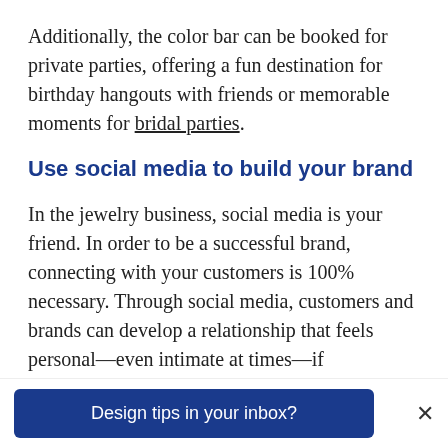Additionally, the color bar can be booked for private parties, offering a fun destination for birthday hangouts with friends or memorable moments for bridal parties.
Use social media to build your brand
In the jewelry business, social media is your friend. In order to be a successful brand, connecting with your customers is 100% necessary. Through social media, customers and brands can develop a relationship that feels personal—even intimate at times—if
Design tips in your inbox?